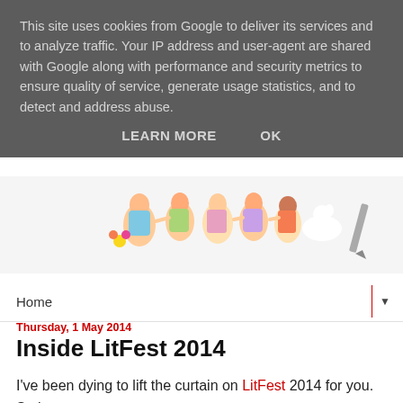This site uses cookies from Google to deliver its services and to analyze traffic. Your IP address and user-agent are shared with Google along with performance and security metrics to ensure quality of service, generate usage statistics, and to detect and address abuse.
LEARN MORE    OK
[Figure (illustration): Colorful illustrated cartoon figures of children/people lying down in a row, top-down view, with various colors and outfits]
Home
Thursday, 1 May 2014
Inside LitFest 2014
I've been dying to lift the curtain on LitFest 2014 for you. So here goes...
Things are hotting up here! The ace LitFest team have been working flat out for months now, drawing